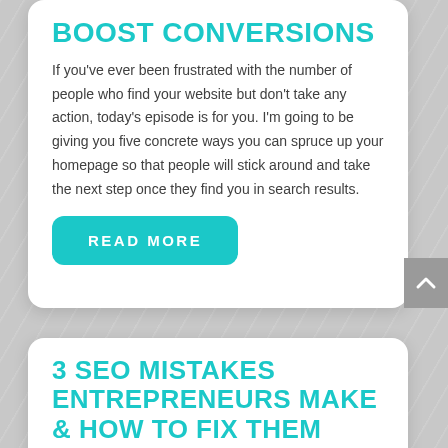BOOST CONVERSIONS
If you've ever been frustrated with the number of people who find your website but don't take any action, today's episode is for you. I'm going to be giving you five concrete ways you can spruce up your homepage so that people will stick around and take the next step once they find you in search results.
READ MORE
3 SEO MISTAKES ENTREPRENEURS MAKE & HOW TO FIX THEM